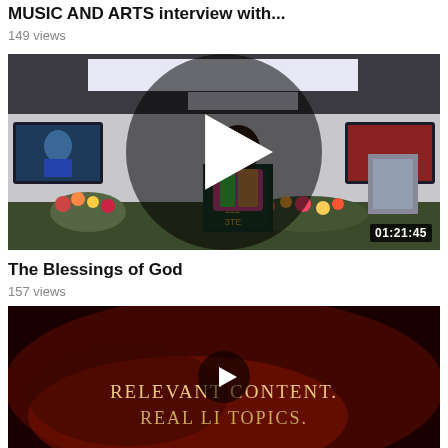MUSIC AND ARTS interview with...
149 views
[Figure (screenshot): Video thumbnail showing a person in a colorful outfit standing at a podium in a church-like room with flowers, a play button overlay in the center, and a timestamp 01:21:45 at the bottom right.]
The Blessings of God
157 views
[Figure (screenshot): Video thumbnail with dark red/orange background and text 'RELEVANT CONTENT. REAL LIFE TOPICS.' with a play button overlay visible.]